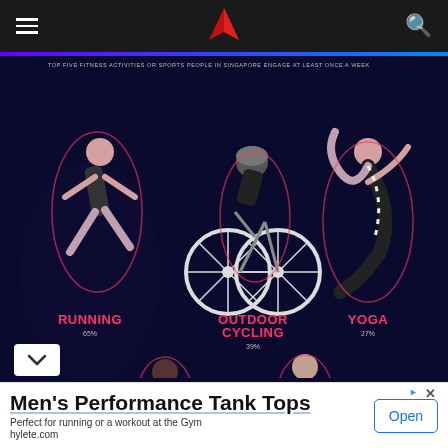Navigation header with hamburger menu, logo (red arrow/chevron mark), and search icon
[Figure (infographic): Infographic on dark navy background titled 'TOP FIVE FITNESS ACTIVITIES OR SPORTS PEOPLE IN SINGAPORE ENGAGE AT LEAST ONCE A WEEK'. Shows three activities in top row: RUNNING 65%, OUTDOOR CYCLING 39%, YOGA 27%, with illustrated athlete figures for each. Bottom row partially visible showing basketball player and a dancer/runner figure.]
TOP FIVE FITNESS ACTIVITIES OR SPORTS PEOPLE IN SINGAPORE ENGAGE AT LEAST ONCE A WEEK
Men's Performance Tank Tops
Perfect for running or a workout at the Gym
hylete.com
Open